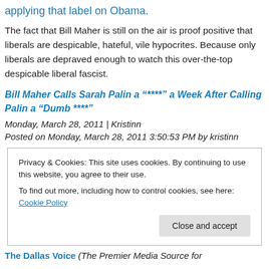applying that label on Obama.
The fact that Bill Maher is still on the air is proof positive that liberals are despicable, hateful, vile hypocrites. Because only liberals are depraved enough to watch this over-the-top despicable liberal fascist.
Bill Maher Calls Sarah Palin a “****” a Week After Calling Palin a “Dumb ****”
Monday, March 28, 2011 | Kristinn
Posted on Monday, March 28, 2011 3:50:53 PM by kristinn
Privacy & Cookies: This site uses cookies. By continuing to use this website, you agree to their use.
To find out more, including how to control cookies, see here: Cookie Policy
Close and accept
The Dallas Voice (The Premier Media Source for